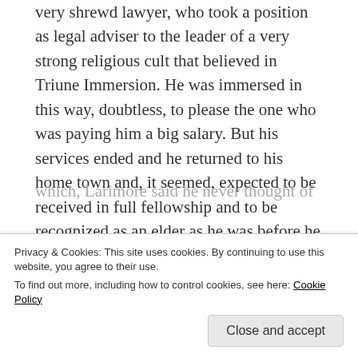very shrewd lawyer, who took a position as legal adviser to the leader of a very strong religious cult that believed in Triune Immersion. He was immersed in this way, doubtless, to please the one who was paying him a big salary. But his services ended and he returned to his home town and, it seemed, expected to be received in full fellowship and to be recognized as an elder as he was before he left; however, he was not recognized. He came to my room almost every day complaining about the treatment he was receiving, and spoke of what E. A. Elam, T. B. Larimore and others thought of him. Some of
Privacy & Cookies: This site uses cookies. By continuing to use this website, you agree to their use.
To find out more, including how to control cookies, see here: Cookie Policy
which, Larimore said he never thought of before and